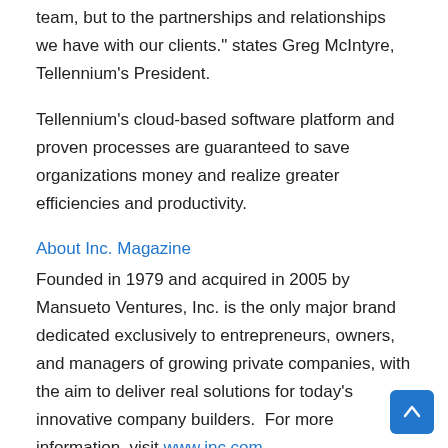team, but to the partnerships and relationships we have with our clients." states Greg McIntyre, Tellennium's President.
Tellennium's cloud-based software platform and proven processes are guaranteed to save organizations money and realize greater efficiencies and productivity.
About Inc. Magazine
Founded in 1979 and acquired in 2005 by Mansueto Ventures, Inc. is the only major brand dedicated exclusively to entrepreneurs, owners, and managers of growing private companies, with the aim to deliver real solutions for today's innovative company builders.  For more information, visit www.inc.com.
About Tellennium Inc.
Tellennium, based in Louisville, Kentucky, began as a